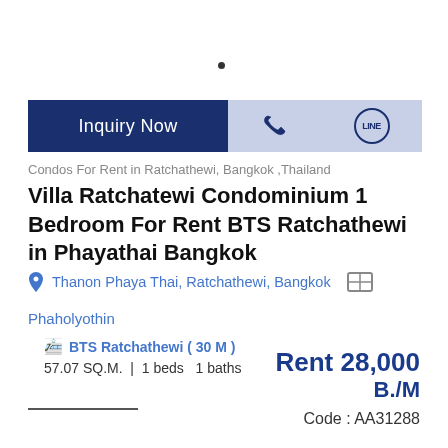Inquiry Now
Condos For Rent in Ratchathewi, Bangkok ,Thailand
Villa Ratchatewi Condominium 1 Bedroom For Rent BTS Ratchathewi in Phayathai Bangkok
Thanon Phaya Thai, Ratchathewi, Bangkok
Phaholyothin
BTS Ratchathewi ( 30 M )
57.07 SQ.M. | 1 beds  1 baths
Rent 28,000 B./M
Code : AA31288